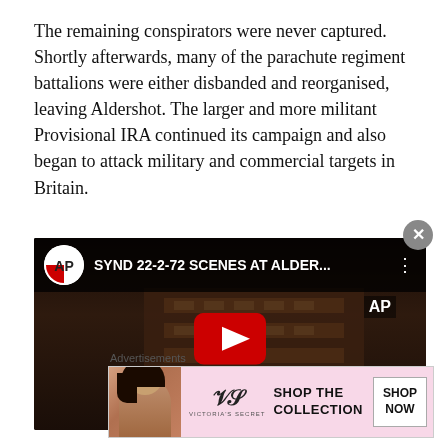The remaining conspirators were never captured. Shortly afterwards, many of the parachute regiment battalions were either disbanded and reorganised, leaving Aldershot. The larger and more militant Provisional IRA continued its campaign and also began to attack military and commercial targets in Britain.
[Figure (screenshot): YouTube video embed showing AP archive footage titled 'SYND 22-2-72 SCENES AT ALDER...' with AP logo, a dark sepia-toned image of a multi-story building, and a red YouTube play button in the center.]
Advertisements
[Figure (screenshot): Victoria's Secret advertisement banner with pink background, a woman's photo on left, Victoria's Secret logo and text 'SHOP THE COLLECTION', and a 'SHOP NOW' button.]